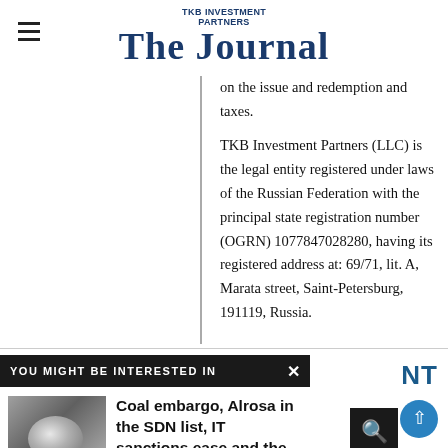TKB INVESTMENT PARTNERS The Journal
on the issue and redemption and taxes. TKB Investment Partners (LLC) is the legal entity registered under laws of the Russian Federation with the principal state registration number (OGRN) 1077847028280, having its registered address at: 69/71, lit. A, Marata street, Saint-Petersburg, 191119, Russia.
YOU MIGHT BE INTERESTED IN
Coal embargo, Alrosa in the SDN list, IT sanctions ease and the key rate cut